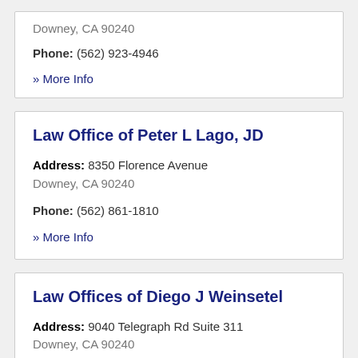Phone: (562) 923-4946
» More Info
Law Office of Peter L Lago, JD
Address: 8350 Florence Avenue Downey, CA 90240
Phone: (562) 861-1810
» More Info
Law Offices of Diego J Weinsetel
Address: 9040 Telegraph Rd Suite 311 Downey, CA 90240
Phone: (562) 622-9222